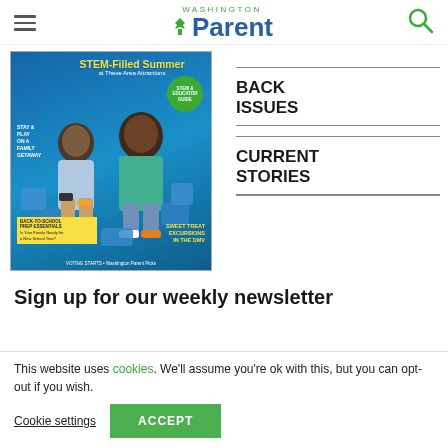Washington Parent
[Figure (photo): Washington Parent magazine cover showing two children with STEM toys, featuring headlines: STEM-Filled Summer at These Area Attractions, Back-to-School Prep Essentials, Sweet Treat Excursions in the DMV, Stay & Play on a Family Getaway, Voting Starts - Washington Parent Picks]
BACK ISSUES
CURRENT STORIES
Sign up for our weekly newsletter
This website uses cookies. We'll assume you're ok with this, but you can opt-out if you wish.
Cookie settings  ACCEPT